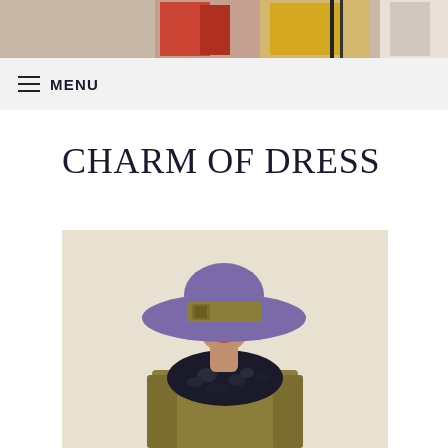[Figure (photo): Header photo showing people in colorful fashion clothing — red, yellow, and grey garments visible.]
MENU
CHARM OF DRESS
[Figure (illustration): Illustration of a woman wearing a large wide-brimmed purple hat with an olive/khaki ribbon, and an olive coat with a dark fur collar or stole.]